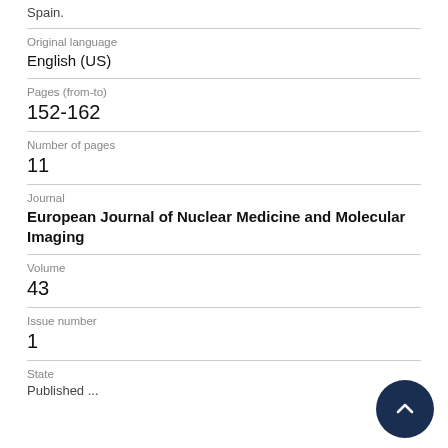Spain.
| Original language | English (US) |
| Pages (from-to) | 152-162 |
| Number of pages | 11 |
| Journal | European Journal of Nuclear Medicine and Molecular Imaging |
| Volume | 43 |
| Issue number | 1 |
| State | Published - 1 Jan 1 |